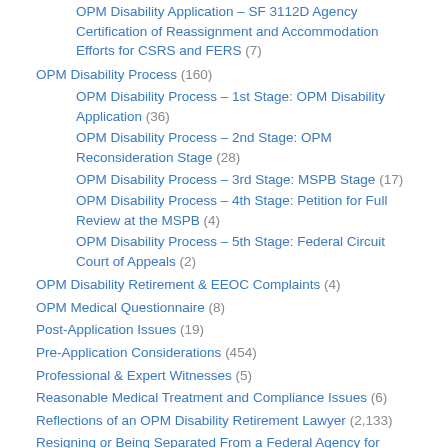OPM Disability Application – SF 3112D Agency Certification of Reassignment and Accommodation Efforts for CSRS and FERS (7)
OPM Disability Process (160)
OPM Disability Process – 1st Stage: OPM Disability Application (36)
OPM Disability Process – 2nd Stage: OPM Reconsideration Stage (28)
OPM Disability Process – 3rd Stage: MSPB Stage (17)
OPM Disability Process – 4th Stage: Petition for Full Review at the MSPB (4)
OPM Disability Process – 5th Stage: Federal Circuit Court of Appeals (2)
OPM Disability Retirement & EEOC Complaints (4)
OPM Medical Questionnaire (8)
Post-Application Issues (19)
Pre-Application Considerations (454)
Professional & Expert Witnesses (5)
Reasonable Medical Treatment and Compliance Issues (6)
Reflections of an OPM Disability Retirement Lawyer (2,133)
Resigning or Being Separated From a Federal Agency for Medical Problems or Other Reasons (41)